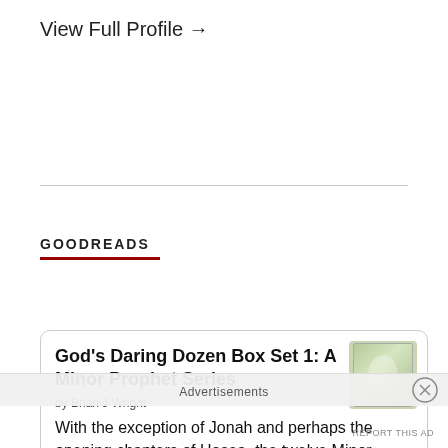View Full Profile →
GOODREADS
God's Daring Dozen Box Set 1: A Minor Prophet Series by Brian J Wright With the exception of Jonah and perhaps the opening chapters of Hosea, the twelve Minor Prophets are without a doubt some of the least understood books
Advertisements